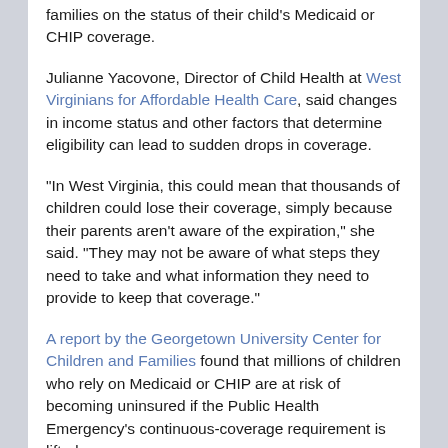families on the status of their child's Medicaid or CHIP coverage.
Julianne Yacovone, Director of Child Health at West Virginians for Affordable Health Care, said changes in income status and other factors that determine eligibility can lead to sudden drops in coverage.
"In West Virginia, this could mean that thousands of children could lose their coverage, simply because their parents aren't aware of the expiration," she said. "They may not be aware of what steps they need to take and what information they need to provide to keep that coverage."
A report by the Georgetown University Center for Children and Families found that millions of children who rely on Medicaid or CHIP are at risk of becoming uninsured if the Public Health Emergency's continuous-coverage requirement is lifted.
You ...